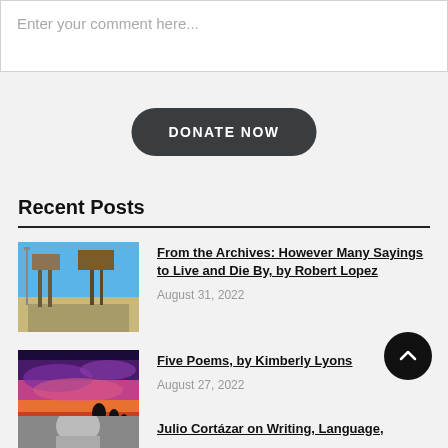Enter your comment here...
DONATE NOW
Recent Posts
[Figure (photo): Roadside billboard and signage along a desert highway under blue sky]
From the Archives: However Many Sayings to Live and Die By, by Robert Lopez
August 31, 2022
[Figure (photo): Colorful purple and pink sunset sky with silhouetted trees]
Five Poems, by Kimberly Lyons
August 27, 2022
[Figure (photo): Black and white portrait photo (partially visible)]
Julio Cortázar on Writing, Language,